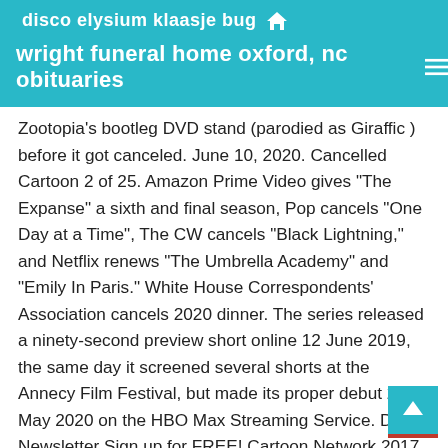disco elysium klaasje bug 🏠
wright funeral home oxford, nc obituaries ☰
Zootopia's bootleg DVD stand (parodied as Giraffic ) before it got canceled. June 10, 2020. Cancelled Cartoon 2 of 25. Amazon Prime Video gives "The Expanse" a sixth and final season, Pop cancels "One Day at a Time", The CW cancels "Black Lightning," and Netflix renews "The Umbrella Academy" and "Emily In Paris." White House Correspondents' Association cancels 2020 dinner. The series released a ninety-second preview short online 12 June 2019, the same day it screened several shorts at the Annecy Film Festival, but made its proper debut 27 May 2020 on the HBO Max Streaming Service. Daily Newsletter Sign up for FREE! Cartoon Network 2017 Ended [citation needed] September 4 Away: Netflix 2020 Canceled September 9 L.A.'s Finest: Spectrum Originals: 2019 September 11 Coop & Cami Ask the World: Disney Channel 2018 September